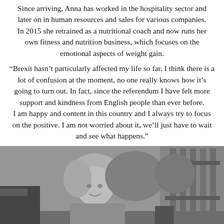Since arriving, Anna has worked in the hospitality sector and later on in human resources and sales for various companies. In 2015 she retrained as a nutritional coach and now runs her own fitness and nutrition business, which focuses on the emotional aspects of weight gain.
“Brexit hasn’t particularly affected my life so far. I think there is a lot of confusion at the moment, no one really knows how it’s going to turn out. In fact, since the referendum I have felt more support and kindness from English people than ever before. I am happy and content in this country and I always try to focus on the positive. I am not worried about it, we’ll just have to wait and see what happens.”
[Figure (photo): Black and white photograph of a woman with blonde hair sitting outdoors, smiling, with a fence and garden visible in the background.]